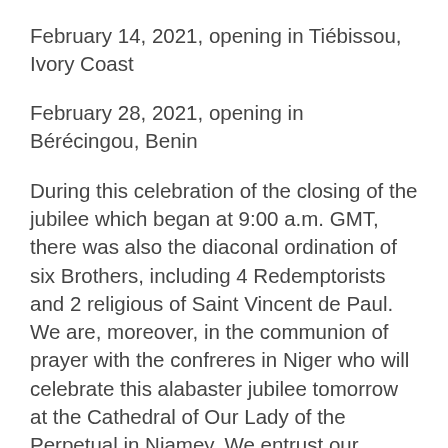February 14, 2021, opening in Tiébissou, Ivory Coast
February 28, 2021, opening in Bérécingou, Benin
During this celebration of the closing of the jubilee which began at 9:00 a.m. GMT, there was also the diaconal ordination of six Brothers, including 4 Redemptorists and 2 religious of Saint Vincent de Paul. We are, moreover, in the communion of prayer with the confreres in Niger who will celebrate this alabaster jubilee tomorrow at the Cathedral of Our Lady of the Perpetual in Niamey. We entrust our confrere, Brother Firmin Afanou, who